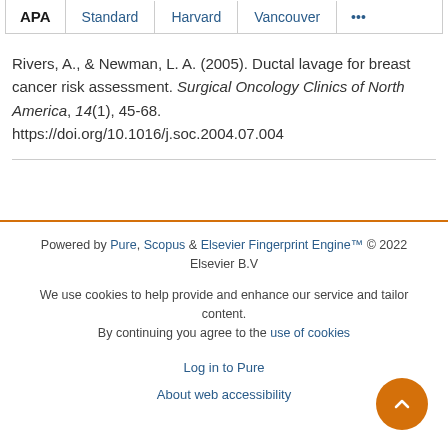APA | Standard | Harvard | Vancouver | ...
Rivers, A., & Newman, L. A. (2005). Ductal lavage for breast cancer risk assessment. Surgical Oncology Clinics of North America, 14(1), 45-68. https://doi.org/10.1016/j.soc.2004.07.004
Powered by Pure, Scopus & Elsevier Fingerprint Engine™ © 2022 Elsevier B.V
We use cookies to help provide and enhance our service and tailor content. By continuing you agree to the use of cookies
Log in to Pure
About web accessibility